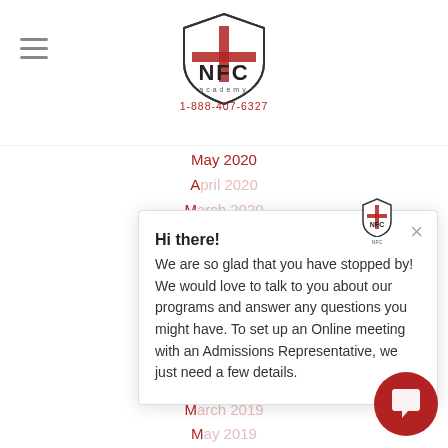[Figure (logo): NFC Academy logo with shield emblem, text 'NFC academy' and phone number 1-888-407-6327]
May 2020
April (partially visible)
March (partially visible)
February (partially visible)
January (partially visible)
December (partially visible)
November (partially visible)
October (partially visible)
September (partially visible)
August (partially visible)
March (partially visible)
May (partially visible)
January 2019
November 2018
October 2018
September 2018
July 2018
Hi there!
We are so glad that you have stopped by! We would love to talk to you about our programs and answer any questions you might have. To set up an Online meeting with an Admissions Representative, we just need a few details.